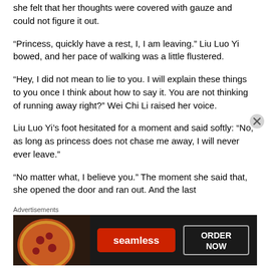she felt that her thoughts were covered with gauze and could not figure it out.
“Princess, quickly have a rest, I, I am leaving.” Liu Luo Yi bowed, and her pace of walking was a little flustered.
“Hey, I did not mean to lie to you. I will explain these things to you once I think about how to say it. You are not thinking of running away right?” Wei Chi Li raised her voice.
Liu Luo Yi’s foot hesitated for a moment and said softly: “No, as long as princess does not chase me away, I will never ever leave.”
“No matter what, I believe you.” The moment she said that, she opened the door and ran out. And the last
Advertisements
[Figure (other): Seamless food delivery advertisement banner showing pizza image, Seamless logo in red, and ORDER NOW button]